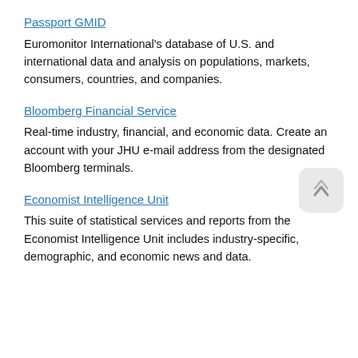Passport GMID
Euromonitor International's database of U.S. and international data and analysis on populations, markets, consumers, countries, and companies.
Bloomberg Financial Service
Real-time industry, financial, and economic data. Create an account with your JHU e-mail address from the designated Bloomberg terminals.
Economist Intelligence Unit
This suite of statistical services and reports from the Economist Intelligence Unit includes industry-specific, demographic, and economic news and data.